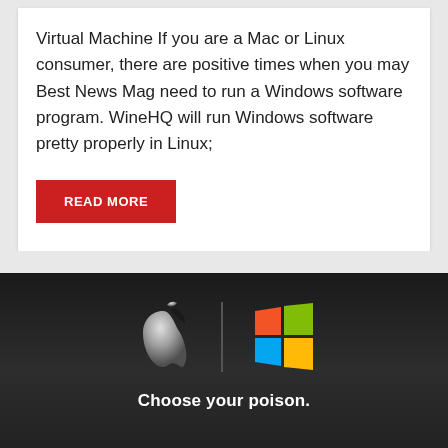Virtual Machine If you are a Mac or Linux consumer, there are positive times when you may Best News Mag need to run a Windows software program. WineHQ will run Windows software pretty properly in Linux;
READ MORE
[Figure (illustration): Dark background image showing an Apple logo and a Windows logo side by side separated by a vertical line, with the text 'Choose your poison.' below them and a red scroll-up button in the bottom right.]